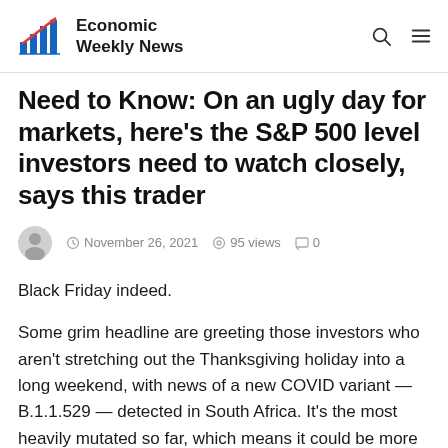Economic Weekly News
Need to Know: On an ugly day for markets, here's the S&P 500 level investors need to watch closely, says this trader
November 26, 2021 · 95 views · 0 comments
Black Friday indeed.
Some grim headline are greeting those investors who aren't stretching out the Thanksgiving holiday into a long weekend, with news of a new COVID variant — B.1.1.529 — detected in South Africa. It's the most heavily mutated so far, which means it could be more transmissible and less